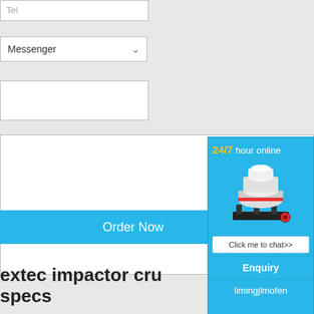Tel
Messenger ▾
You can fill in any other requirements or questions
Order Now
extec impactor crusher specs
[Figure (screenshot): 24/7 hour online popup widget with cone crusher image, Click me to chat>> button, Enquiry section, and limingjlmofen username]
24/7 hour online
Click me to chat>>
Enquiry
limingjlmofen